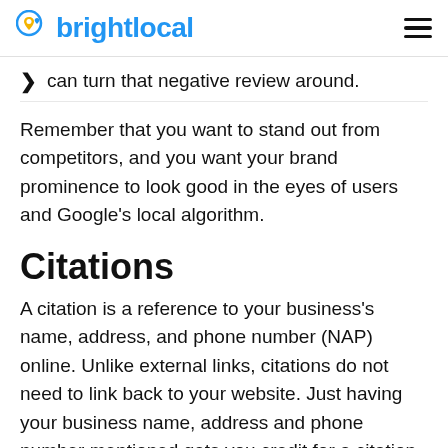brightlocal
can turn that negative review around.
Remember that you want to stand out from competitors, and you want your brand prominence to look good in the eyes of users and Google's local algorithm.
Citations
A citation is a reference to your business's name, address, and phone number (NAP) online. Unlike external links, citations do not need to link back to your website. Just having your business name, address and phone number mentioned gets you credit for a citation.
Businesses that are mentioned a lot online are